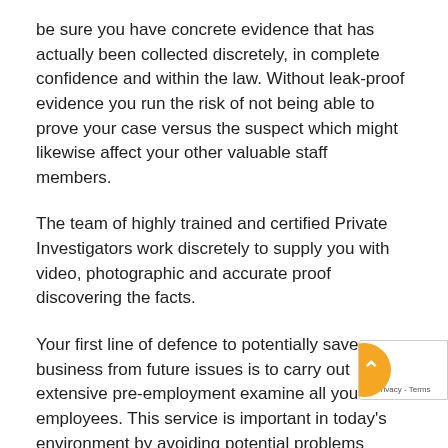be sure you have concrete evidence that has actually been collected discretely, in complete confidence and within the law. Without leak-proof evidence you run the risk of not being able to prove your case versus the suspect which might likewise affect your other valuable staff members.
The team of highly trained and certified Private Investigators work discretely to supply you with video, photographic and accurate proof discovering the facts.
Your first line of defence to potentially save your business from future issues is to carry out extensive pre-employment examine all your employees. This service is important in today's environment by avoiding potential problems through detailed screening.
Other locations where companies use services of us consist of cases of workplace harassment, sick-day…g, industrial theft, intellectual property (IP) theft,